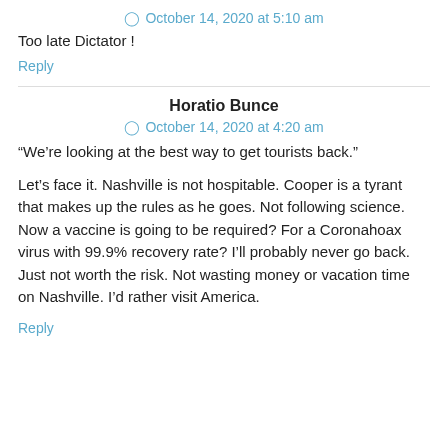October 14, 2020 at 5:10 am
Too late Dictator !
Reply
Horatio Bunce
October 14, 2020 at 4:20 am
“We’re looking at the best way to get tourists back.”
Let’s face it. Nashville is not hospitable. Cooper is a tyrant that makes up the rules as he goes. Not following science. Now a vaccine is going to be required? For a Coronahoax virus with 99.9% recovery rate? I’ll probably never go back. Just not worth the risk. Not wasting money or vacation time on Nashville. I’d rather visit America.
Reply